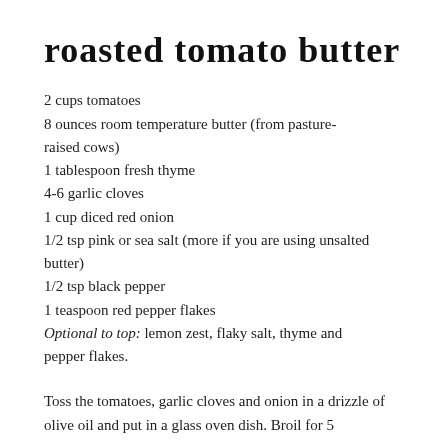roasted tomato butter
2 cups tomatoes
8 ounces room temperature butter (from pasture-raised cows)
1 tablespoon fresh thyme
4-6 garlic cloves
1 cup diced red onion
1/2 tsp pink or sea salt (more if you are using unsalted butter)
1/2 tsp black pepper
1 teaspoon red pepper flakes
Optional to top: lemon zest, flaky salt, thyme and pepper flakes.
Toss the tomatoes, garlic cloves and onion in a drizzle of olive oil and put in a glass oven dish. Broil for 5